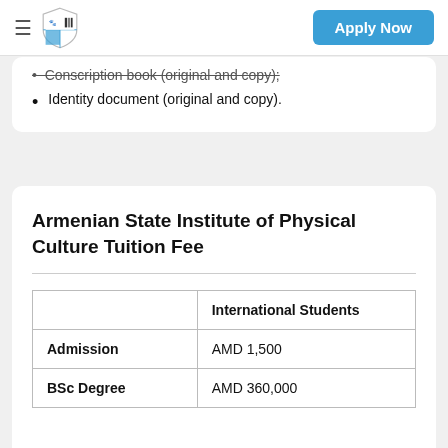≡  [shield logo]  Apply Now
Conscription book (original and copy);
Identity document (original and copy).
Armenian State Institute of Physical Culture Tuition Fee
|  | International Students |
| --- | --- |
| Admission | AMD 1,500 |
| BSc Degree | AMD 360,000 |